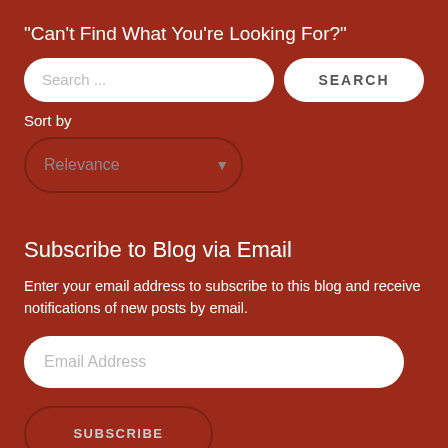“Can’t Find What You’re Looking For?”
[Figure (screenshot): Search input field with placeholder text 'Search ...' and a SEARCH button, plus a Sort by dropdown showing 'Relevance']
Subscribe to Blog via Email
Enter your email address to subscribe to this blog and receive notifications of new posts by email.
[Figure (screenshot): Email Address input field and a SUBSCRIBE button]